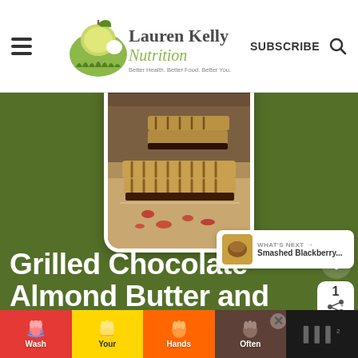Lauren Kelly Nutrition — Better Health. Better Food. Better You. | SUBSCRIBE
[Figure (photo): Grilled chocolate almond butter and strawberry chia jelly sandwich food photo, showing stacked grilled sandwiches with filling visible, on parchment paper. Watermark: y Nutrition]
Grilled Chocolate Almond Butter and Strawberry Chia Jelly Sandwich
[Figure (infographic): Wash Your Hands Often advertisement banner with colorful hand-washing illustrations]
[Figure (other): WHAT'S NEXT: Smashed Blackberry... preview card with food thumbnail]